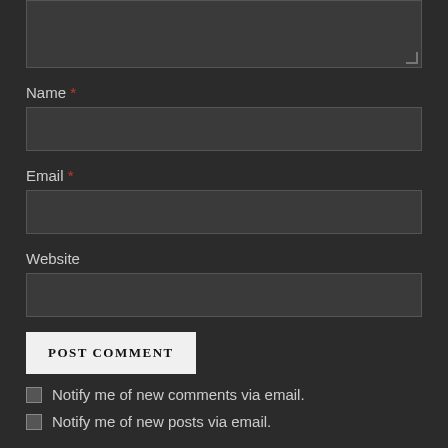[Figure (screenshot): Comment form textarea box (dark background, partially visible at top)]
Name *
[Figure (screenshot): Name input field (dark background text input box)]
Email *
[Figure (screenshot): Email input field (dark background text input box)]
Website
[Figure (screenshot): Website input field (dark background text input box)]
POST COMMENT
Notify me of new comments via email.
Notify me of new posts via email.